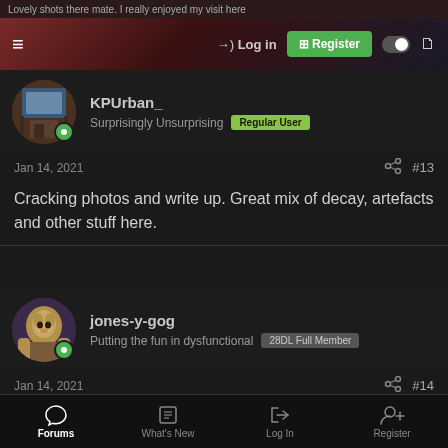Lovely shots there mate. I really enjoyed my visit here
Log in | Register
KPUrban_
Surprisingly Unsurprising  Regular User
Jan 14, 2021  #13
Cracking photos and write up. Great mix of decay, artefacts and other stuff here.
jones-y-gog
Putting the fun in dysfunctional  28DL Full Member
Jan 14, 2021  #14
One that I've never got round to doing, I'm ashamed to say. Great report!
Forums | What's New | Log In | Register